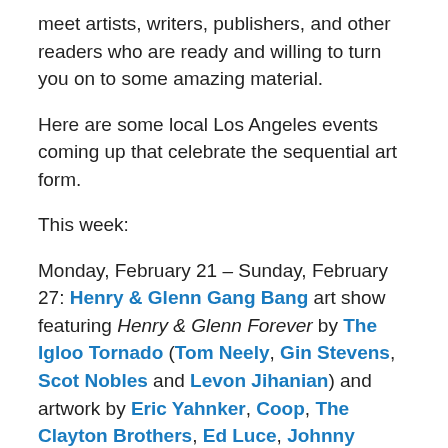meet artists, writers, publishers, and other readers who are ready and willing to turn you on to some amazing material.
Here are some local Los Angeles events coming up that celebrate the sequential art form.
This week:
Monday, February 21 – Sunday, February 27: Henry & Glenn Gang Bang art show featuring Henry & Glenn Forever by The Igloo Tornado (Tom Neely, Gin Stevens, Scot Nobles and Levon Jihanian) and artwork by Eric Yahnker, Coop, The Clayton Brothers, Ed Luce, Johnny Ryan, Kaz and more, at La Luz de Jesus Gallery, 4633 Hollywood Blvd., Los Angeles 90027. Tickets: $0.
Tuesday, February 22, 7 PM – 9 PM: Writer/actor Felicia